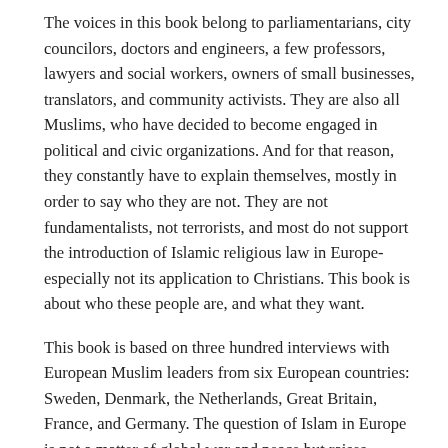The voices in this book belong to parliamentarians, city councilors, doctors and engineers, a few professors, lawyers and social workers, owners of small businesses, translators, and community activists. They are also all Muslims, who have decided to become engaged in political and civic organizations. And for that reason, they constantly have to explain themselves, mostly in order to say who they are not. They are not fundamentalists, not terrorists, and most do not support the introduction of Islamic religious law in Europe- especially not its application to Christians. This book is about who these people are, and what they want.
This book is based on three hundred interviews with European Muslim leaders from six European countries: Sweden, Denmark, the Netherlands, Great Britain, France, and Germany. The question of Islam in Europe is not a matter of global war and peace but raises difficult questions about the positions of Christianity and Islam in public life, and about European identities. Europe's Muslim political leaders are not aiming to overthrow liberal democracy and to replace secular law with Islamic religious law. Those are the positions of a minority. There is not one Muslim position on how Islam should develop in Europe but many views, and most Muslims are rather looking for ways to build institutions that will allow